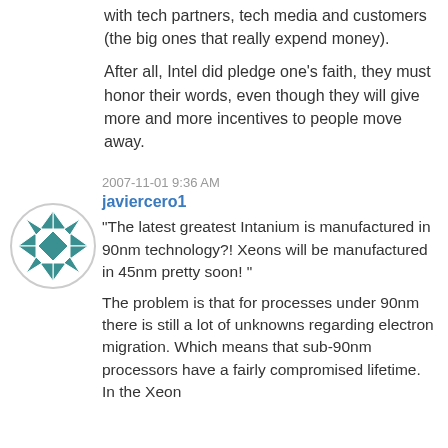with tech partners, tech media and customers (the big ones that really expend money).
After all, Intel did pledge one's faith, they must honor their words, even though they will give more and more incentives to people move away.
[Figure (illustration): Circular avatar icon with teal/blue geometric star/diamond pattern on white background]
2007-11-01 9:36 AM
javiercero1
“The latest greatest Intanium is manufactured in 90nm technology?! Xeons will be manufactured in 45nm pretty soon! ”
The problem is that for processes under 90nm there is still a lot of unknowns regarding electron migration. Which means that sub-90nm processors have a fairly compromised lifetime. In the Xeon